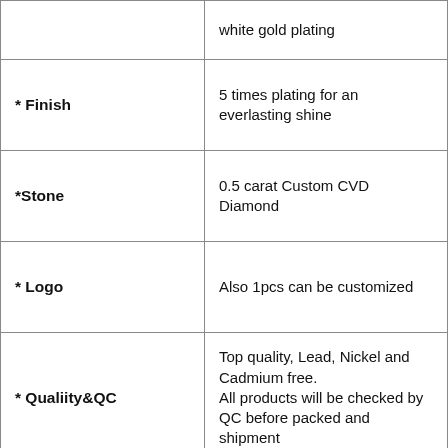| Property | Value |
| --- | --- |
|  | white gold plating |
| * Finish | 5 times plating for an everlasting shine |
| *Stone | 0.5 carat Custom CVD Diamond |
| * Logo | Also 1pcs can be customized |
| * Qualiity&QC | Top quality, Lead, Nickel and Cadmium free. All products will be checked by QC before packed and shipment |
| * OME&ODM | Available |
| * Delivery times | 1. DHL, SF Express:1-2 working days
2. YunExpress: 7-10 working |